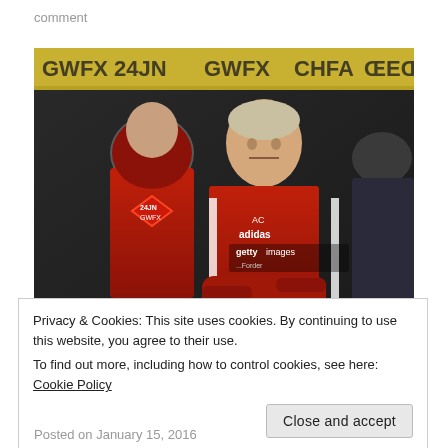comment
[Figure (photo): A man in a red Swansea City FC jacket with arms crossed stands in front of others in red jackets, with a stadium banner in the background. Getty Images watermark visible.]
Privacy & Cookies: This site uses cookies. By continuing to use this website, you agree to their use.
To find out more, including how to control cookies, see here: Cookie Policy
Posted on January 15, 2016